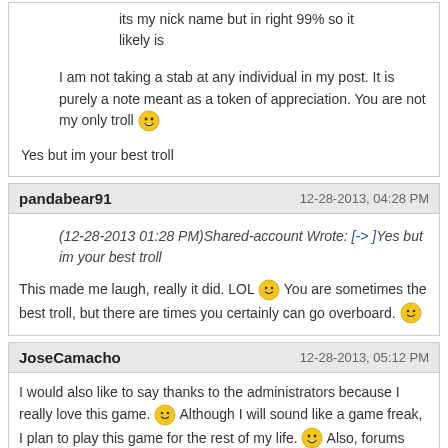its my nick name but in right 99% so it likely is
I am not taking a stab at any individual in my post. It is purely a note meant as a token of appreciation. You are not my only troll 😀
Yes but im your best troll
pandabear91   12-28-2013, 04:28 PM
(12-28-2013 01:28 PM)Shared-account Wrote: [-> ]Yes but im your best troll
This made me laugh, really it did. LOL 🙂 You are sometimes the best troll, but there are times you certainly can go overboard. 🙂
JoseCamacho   12-28-2013, 05:12 PM
I would also like to say thanks to the administrators because I really love this game. 🙂 Although I will sound like a game freak, I plan to play this game for the rest of my life. 😀 Also, forums turned out to be really fun so thanks on that too 🙂🙂😀